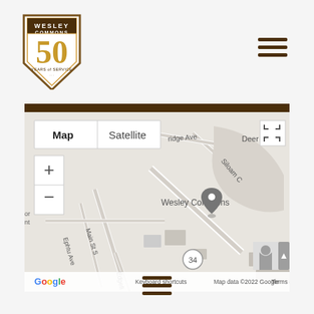[Figure (logo): Wesley Commons 50th anniversary logo — shield shape with brown border, '50' in large gold numerals, 'WESLEY COMMONS' text at top, 'YEARS of SERVICE' at bottom]
[Figure (other): Hamburger menu icon (three horizontal lines) in top right corner]
[Figure (map): Google Maps embedded map showing Wesley Commons location with a map pin, street labels including Main St S, Ephtu Ave, Siloam C, S-24-101, Bridge Ave, and place labels including Deer Pro, Wesley Commons, Home Comfort. Map controls include Map/Satellite toggle, zoom +/- buttons, fullscreen button, street view person icon. Bottom bar shows Keyboard shortcuts, Map data ©2022 Google, Terms of Use.]
[Figure (other): Hamburger menu icon (three horizontal lines) at bottom center of page]